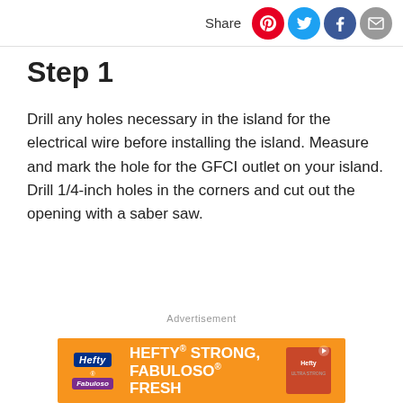Share
Step 1
Drill any holes necessary in the island for the electrical wire before installing the island. Measure and mark the hole for the GFCI outlet on your island. Drill 1/4-inch holes in the corners and cut out the opening with a saber saw.
Advertisement
[Figure (other): Hefty advertisement banner: orange background with Hefty logo and Fabuloso logo on the left, text HEFTY STRONG, FABULOSO FRESH in white bold uppercase letters, and a small product image on the right with a play button.]